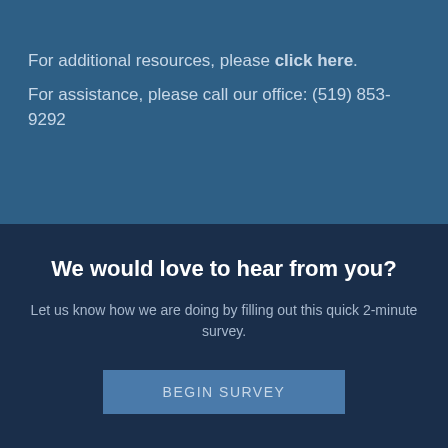For additional resources, please click here.
For assistance, please call our office: (519) 853-9292
We would love to hear from you?
Let us know how we are doing by filling out this quick 2-minute survey.
BEGIN SURVEY